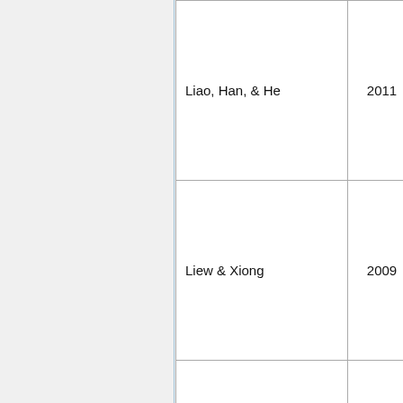| Author | Year | Journal/Conference |
| --- | --- | --- |
| Liao, Han, & He | 2011 | Journal of Constructional Steel Research |
| Liew & Xiong | 2009 | Journal of Constructional Steel Research |
| Lin | 1988 | 9th International Conference on Cold-Formed Steel Structures |